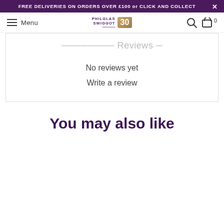FREE DELIVERIES ON ORDERS OVER £100 or CLICK AND COLLECT
[Figure (logo): Philglas Swiggot 30th anniversary logo with navigation bar including hamburger menu, search icon, and cart icon]
Customer Reviews
No reviews yet
Write a review
You may also like